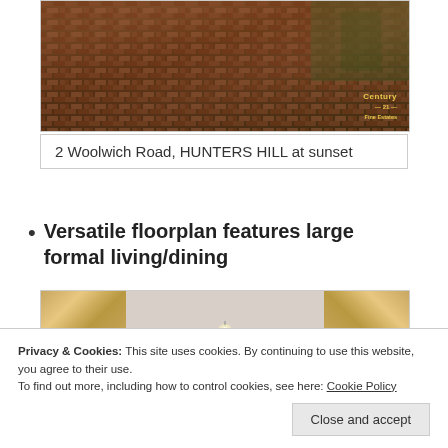[Figure (photo): Aerial or ground-level photo of driveway/courtyard at 2 Woolwich Road, Hunters Hill, with brick paving and greenery. Century 21 logo visible in lower right corner.]
2 Woolwich Road, HUNTERS HILL at sunset
Versatile floorplan features large formal living/dining
[Figure (photo): Interior photo showing ornate gold-framed doorway or cornice detail with a chandelier and wooden flooring.]
Privacy & Cookies: This site uses cookies. By continuing to use this website, you agree to their use.
To find out more, including how to control cookies, see here: Cookie Policy